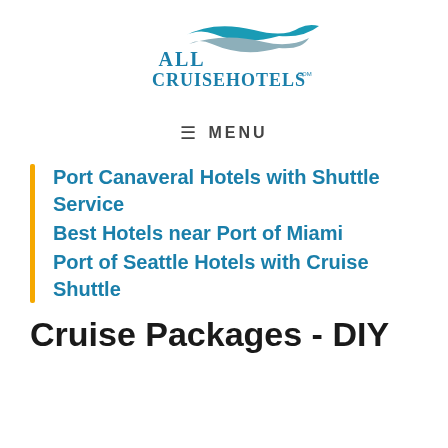[Figure (logo): AllCruiseHotels.com logo with teal/blue wave graphic and teal serif text]
≡  MENU
Port Canaveral Hotels with Shuttle Service
Best Hotels near Port of Miami
Port of Seattle Hotels with Cruise Shuttle
Cruise Packages - DIY